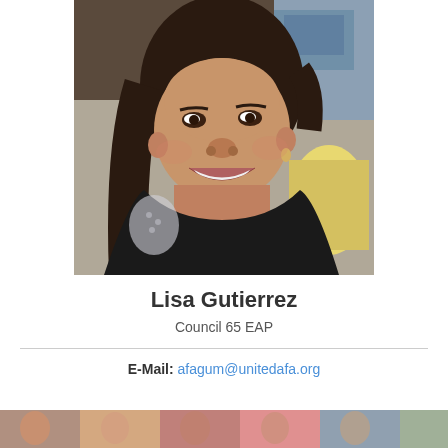[Figure (photo): Headshot photo of Lisa Gutierrez, a smiling woman with dark hair, wearing a black top, photographed indoors with a restaurant/café background.]
Lisa Gutierrez
Council 65 EAP
E-Mail: afagum@unitedafa.org
[Figure (photo): Partial photo visible at the bottom of the page, cropped.]